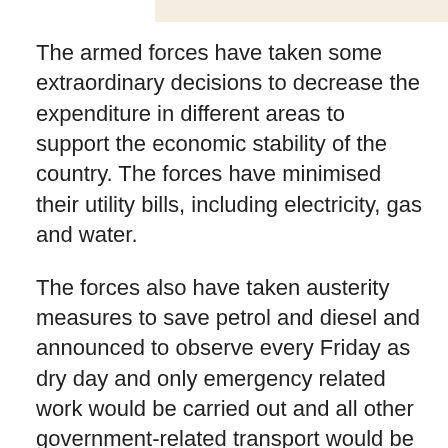The armed forces have taken some extraordinary decisions to decrease the expenditure in different areas to support the economic stability of the country. The forces have minimised their utility bills, including electricity, gas and water.
The forces also have taken austerity measures to save petrol and diesel and announced to observe every Friday as dry day and only emergency related work would be carried out and all other government-related transport would be halted.
The forces also decided not to conduct big exercises and training at far off areas and would conduct small scale training in cantonments areas. The latest technology would be used to stop unnecessary travel and all conferences